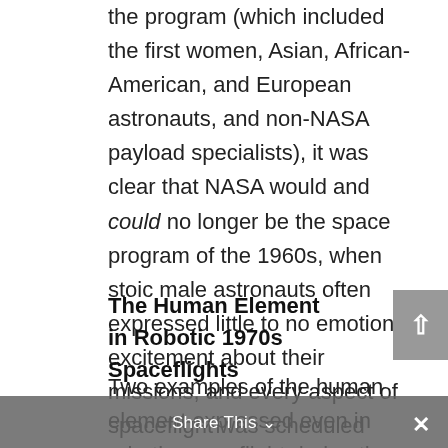the program (which included the first women, Asian, African-American, and European astronauts, and non-NASA payload specialists), it was clear that NASA would and could no longer be the space program of the 1960s, when stoic male astronauts often expressed little to no emotion or excitement about their missions, and every aspect of spaceflight was scheduled and/or scripted.
The Human Element in Robotic 1970s Spaceflights
Two examples of the human element expressed even in robotic spaceflight during the 1970s include the plaques flown on